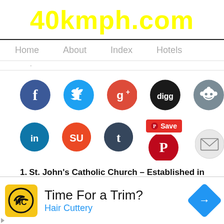40kmph.com
Home   About   Index   Hotels
[Figure (infographic): Row of social media sharing icons: Facebook, Twitter, Google+, Digg, Reddit in first row; LinkedIn, StumbleUpon, Tumblr, Pinterest (Save button), Email in second row]
1. St. John's Catholic Church – Established in 1936
ai Tarkeshwar Dham near Gundalkhet Village
Time For a Trim? Hair Cuttery (advertisement)